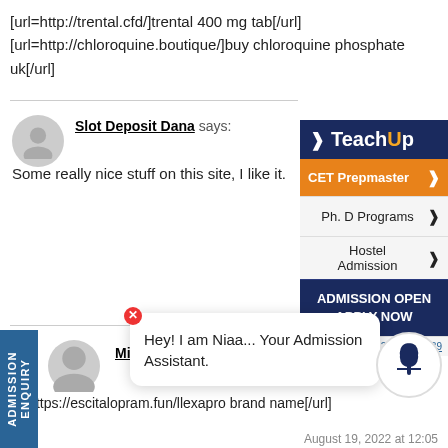[url=http://trental.cfd/]trental 400 mg tab[/url]
[url=http://chloroquine.boutique/]buy chloroquine phosphate uk[/url]
Slot Deposit Dana says:
Some really nice stuff on this site, I like it.
[Figure (screenshot): TeachUp sidebar widget showing CET Prepmaster, Ph. D Programs, Hostel Admission menus and Admission Open Apply Now banner]
Michaeldor says:
=https://escitalopram.fun/llexapro brand name[/url]
[Figure (screenshot): Chat popup with Hey! I am Niaa... Your Admission Assistant. message and close button]
August 19, 2022 at 07:39
August 19, 2022 at 12:05